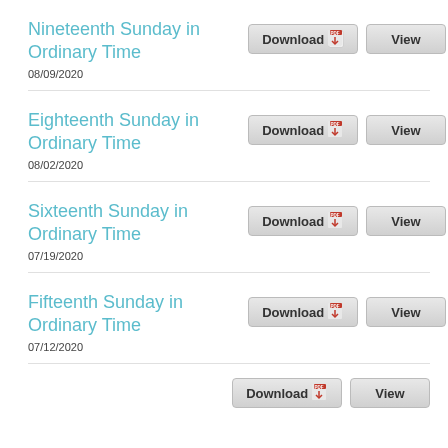Nineteenth Sunday in Ordinary Time
08/09/2020
Eighteenth Sunday in Ordinary Time
08/02/2020
Sixteenth Sunday in Ordinary Time
07/19/2020
Fifteenth Sunday in Ordinary Time
07/12/2020